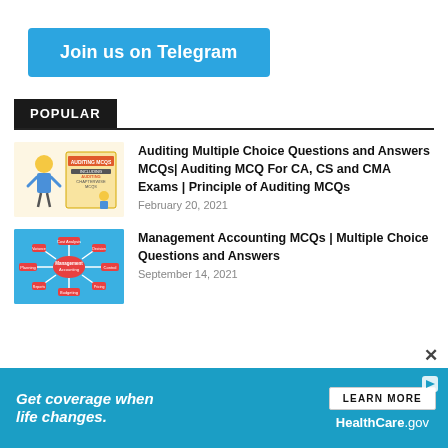[Figure (other): Blue 'Join us on Telegram' button]
POPULAR
[Figure (illustration): Auditing MCQs book cover thumbnail with cream background, character and text 'AUDITING MCQS INCLUDING AUDITING CHAPTERWISE MCQS']
Auditing Multiple Choice Questions and Answers MCQs| Auditing MCQ For CA, CS and CMA Exams | Principle of Auditing MCQs
February 20, 2021
[Figure (illustration): Management Accounting mind-map diagram on blue background]
Management Accounting MCQs | Multiple Choice Questions and Answers
September 14, 2021
[Figure (other): Healthcare.gov advertisement banner: 'Get coverage when life changes. LEARN MORE HealthCare.gov']